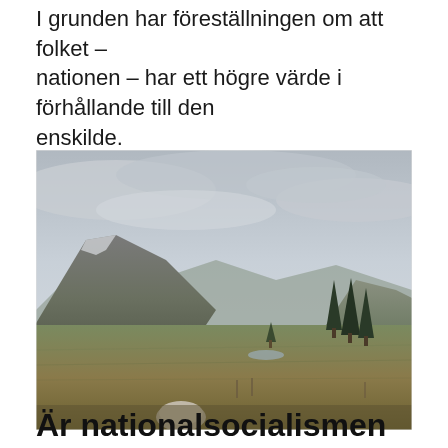I grunden har föreställningen om att folket – nationen – har ett högre värde i förhållande till den enskilde.
[Figure (photo): A wide open mountain valley landscape with overcast grey sky. A large rocky mountain sits to the left, with green-brown grassland stretching across the valley floor. Several conifer trees are visible to the right. The scene appears to be in a Nordic or Scandinavian alpine region.]
Är nationalsocialismen